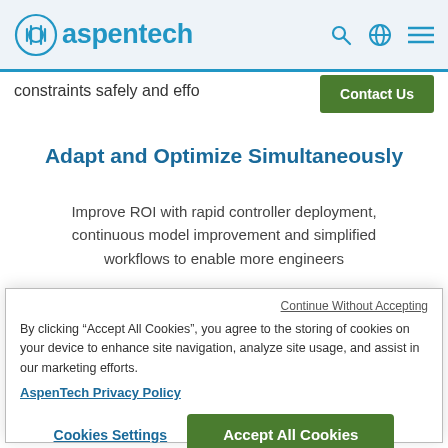aspentech
constraints safely and effo
Contact Us
Adapt and Optimize Simultaneously
Improve ROI with rapid controller deployment, continuous model improvement and simplified workflows to enable more engineers
Continue Without Accepting
By clicking “Accept All Cookies”, you agree to the storing of cookies on your device to enhance site navigation, analyze site usage, and assist in our marketing efforts.
AspenTech Privacy Policy
Cookies Settings
Accept All Cookies